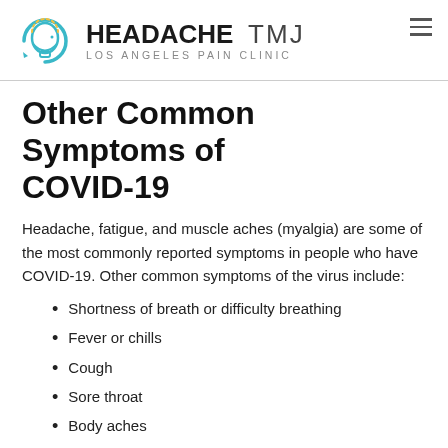HEADACHE TMJ LOS ANGELES PAIN CLINIC
Other Common Symptoms of COVID-19
Headache, fatigue, and muscle aches (myalgia) are some of the most commonly reported symptoms in people who have COVID-19. Other common symptoms of the virus include:
Shortness of breath or difficulty breathing
Fever or chills
Cough
Sore throat
Body aches
Congestion or runny nose
Nausea or vomiting
New loss of taste or smell